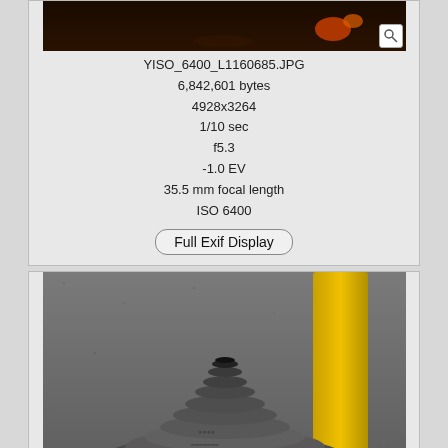[Figure (photo): Partial top photo of a dark scene with orange/yellow lights, cropped at top]
YISO_6400_L1160685.JPG
6,842,601 bytes
4928x3264
1/10 sec
f5.3
-1.0 EV
35.5 mm focal length
ISO 6400
Full Exif Display
[Figure (photo): Close-up photo of a dark metallic bolt or mechanical part base on concrete ground, with a yellow pole visible]
YISO_6400_L1160701.JPG
6,841,381 bytes
4928x3264
1/40 sec
f6.4
-0.7 EV
45.8 mm focal length
ISO 6400
Full Exif Display